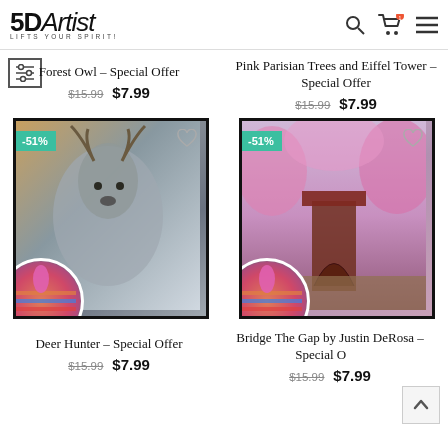5DArtist LIFTS YOUR SPIRIT!
Forest Owl - Special Offer
$15.99  $7.99
Pink Parisian Trees and Eiffel Tower - Special Offer
$15.99  $7.99
[Figure (photo): Framed diamond art painting of a deer with -51% discount badge]
[Figure (photo): Framed diamond art painting of a red covered bridge in cherry blossoms with -51% discount badge]
Deer Hunter - Special Offer
$15.99  $7.99
Bridge The Gap by Justin DeRosa - Special Offer
$15.99  $7.99